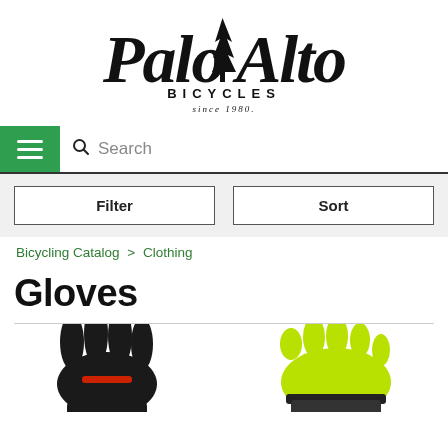[Figure (logo): Palo Alto Bicycles logo — stylized script text 'Palo Alto' with a redwood tree graphic in the center, 'BICYCLES' in spaced caps below, 'SINCE 1980' in small text beneath]
[Figure (screenshot): Navigation bar with green hamburger menu button on the left and a search bar with magnifying glass icon and 'Search' placeholder text]
[Figure (screenshot): Filter and Sort buttons in a light gray bar]
Bicycling Catalog > Clothing
Gloves
[Figure (photo): Two cycling gloves partially visible at the bottom: left glove is black with a red stripe detail; right glove is neon yellow-green with black accents]